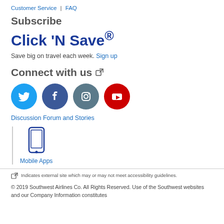Customer Service | FAQ
Subscribe
Click 'N Save®
Save big on travel each week. Sign up
Connect with us
[Figure (infographic): Four social media icons: Twitter (blue circle), Facebook (dark blue circle), Instagram (slate circle), YouTube (red circle)]
Discussion Forum and Stories
[Figure (illustration): Smartphone/mobile phone icon in blue outline]
Mobile Apps
Indicates external site which may or may not meet accessibility guidelines.
© 2019 Southwest Airlines Co. All Rights Reserved. Use of the Southwest websites and our Company Information constitutes